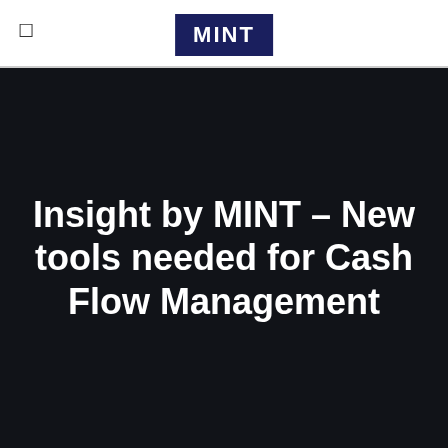MINT
Insight by MINT – New tools needed for Cash Flow Management